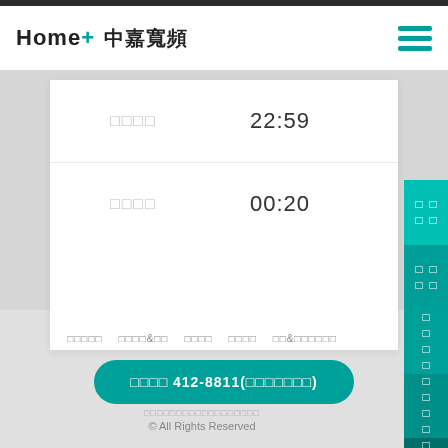Home+ 中嘉寬頻
|  |  |
| --- | --- |
| □□□□ | 22:59 |
| □□□□ | 00:20 |
□□□□□ □□□□&□□ □□□□ □□□□ □□&□□□□□□
□□□□ 412-8811(□□□□□□□)
□□□□□□□□□□□□□□□□□□ © All Rights Reserved